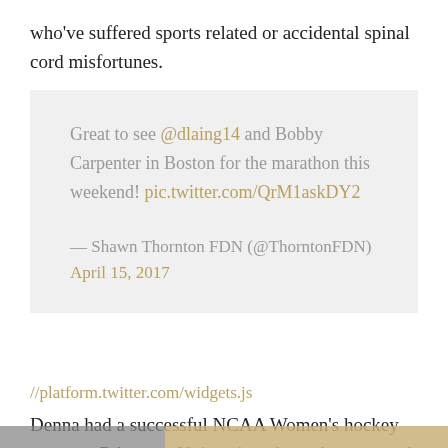who've suffered sports related or accidental spinal cord misfortunes.
Great to see @dlaing14 and Bobby Carpenter in Boston for the marathon this weekend! pic.twitter.com/QrM1askDY2

— Shawn Thornton FDN (@ThorntonFDN) April 15, 2017
//platform.twitter.com/widgets.js
Denna had a successful NCAA Women's hockey career at Princeton University where she appeared in 120 games posting 35, 42, 77 numbers before she joined the